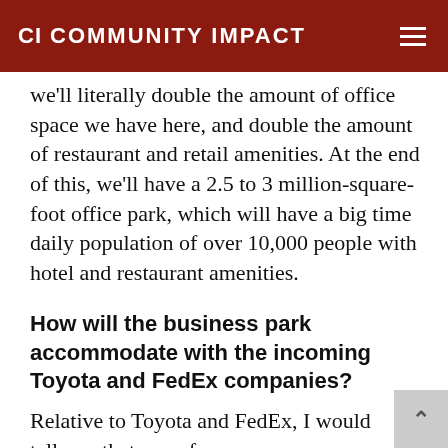CI COMMUNITY IMPACT
we'll literally double the amount of office space we have here, and double the amount of restaurant and retail amenities. At the end of this, we'll have a 2.5 to 3 million-square-foot office park, which will have a big time daily population of over 10,000 people with hotel and restaurant amenities.
How will the business park accommodate with the incoming Toyota and FedEx companies?
Relative to Toyota and FedEx, I would tell you that one of